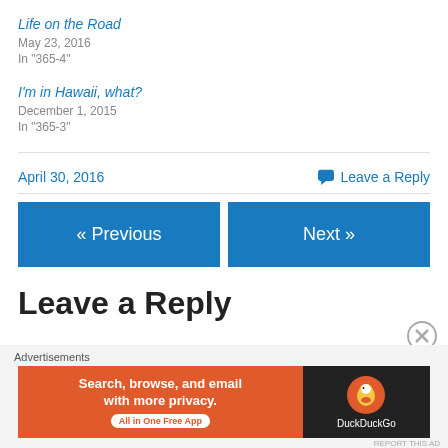Life on the Road
May 23, 2016
In "365-4"
I'm in Hawaii, what?
December 1, 2015
In "365-3"
April 30, 2016    Leave a Reply
« Previous
Next »
Leave a Reply
[Figure (screenshot): DuckDuckGo advertisement banner showing 'Search, browse, and email with more privacy. All in One Free App' on orange background with DuckDuckGo logo on dark background. Below: 'Advertisements' label and 'REPORT THIS AD' link.]